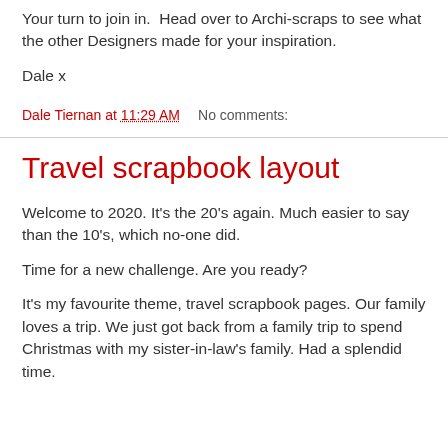Your turn to join in.  Head over to Archi-scraps to see what the other Designers made for your inspiration.
Dale x
Dale Tiernan at 11:29 AM   No comments:
Travel scrapbook layout
Welcome to 2020. It's the 20's again. Much easier to say than the 10's, which no-one did.
Time for a new challenge. Are you ready?
It's my favourite theme, travel scrapbook pages. Our family loves a trip. We just got back from a family trip to spend Christmas with my sister-in-law's family. Had a splendid time.